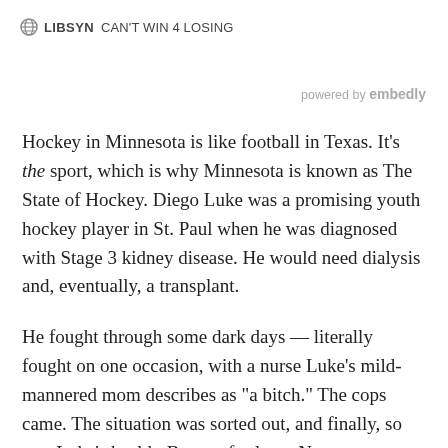LIBSYN  CAN'T WIN 4 LOSING
powered by embedly
Hockey in Minnesota is like football in Texas. It’s the sport, which is why Minnesota is known as The State of Hockey. Diego Luke was a promising youth hockey player in St. Paul when he was diagnosed with Stage 3 kidney disease. He would need dialysis and, eventually, a transplant.
He fought through some dark days — literally fought on one occasion, with a nurse Luke’s mild-mannered mom describes as “a bitch.” The cops came. The situation was sorted out, and finally, so was Luke’s health. But not for long. Next came a